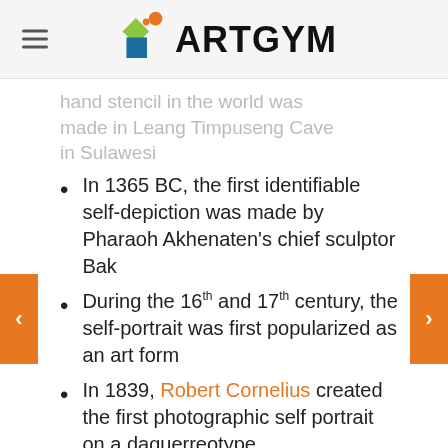[Figure (logo): iARTGYM logo with colorful geometric shapes (green diamond, orange circle, blue square) and bold black text ARTGYM]
hand stencil in the world was made in Leang Timpuseng Cave in Sulawesi
In 1365 BC, the first identifiable self-depiction was made by Pharaoh Akhenaten's chief sculptor Bak
During the 16th and 17th century, the self-portrait was first popularized as an art form
In 1839, Robert Cornelius created the first photographic self portrait on a daguerreotype
Starting in the 1960's, Andy